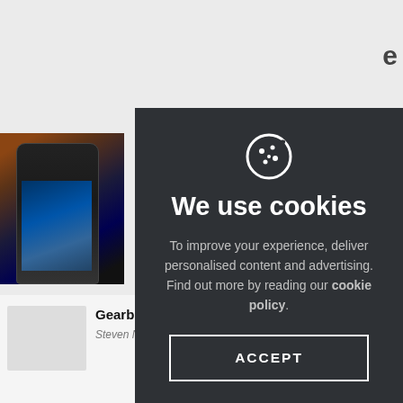[Figure (screenshot): Background website showing tech articles with thumbnail images of a smartphone, a game controller, and a tablet. Partial text 'e' and 'ot it' visible on right side behind modal.]
[Figure (infographic): Cookie consent modal overlay with dark background (#2e3135), cookie icon, bold title 'We use cookies', explanatory text about personalised content and cookie policy, and an ACCEPT button with white border.]
We use cookies
To improve your experience, deliver personalised content and advertising. Find out more by reading our cookie policy.
ACCEPT
Gearburn goes hands on with the HTC One
Steven Norris: grumpy curmudgeon